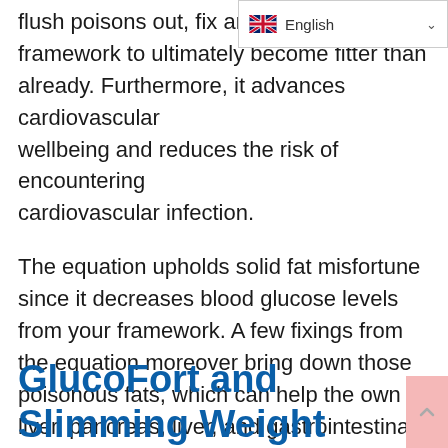[Figure (other): English language selector widget with UK flag and dropdown arrow]
flush poisons out, fix any damage to your framework to ultimately become fitter than already. Furthermore, it advances cardiovascular wellbeing and reduces the risk of encountering cardiovascular infection.
The equation upholds solid fat misfortune since it decreases blood glucose levels from your framework. A few fixings from the equation moreover bring down those poisonous fats, which can help the own liver, pancreas, liver, and gastrointestinal framework loosen up and work ordinarily once more.
GlucoFort and Slimming Weight